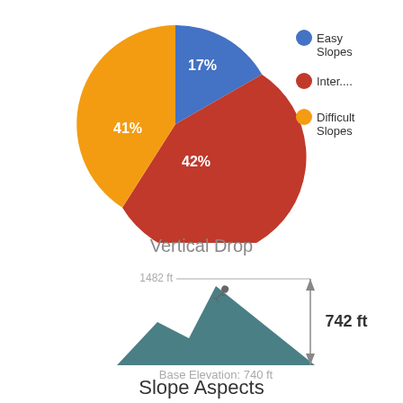[Figure (pie-chart): Slopes]
[Figure (infographic): Vertical Drop infographic showing a mountain silhouette with peak at 1482 ft, base elevation at 740 ft, and a vertical drop indicator of 742 ft on the right side.]
Slope Aspects